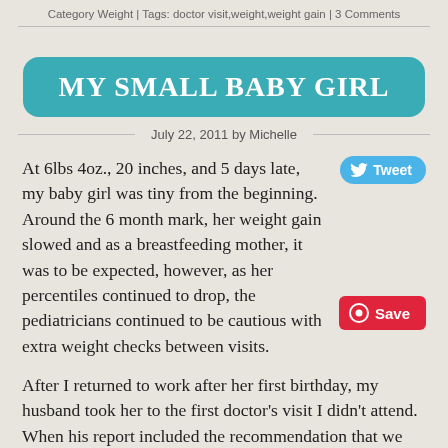Category Weight | Tags: doctor visit,weight,weight gain | 3 Comments
MY SMALL BABY GIRL
July 22, 2011 by Michelle
At 6lbs 4oz., 20 inches, and 5 days late, my baby girl was tiny from the beginning. Around the 6 month mark, her weight gain slowed and as a breastfeeding mother, it was to be expected, however, as her percentiles continued to drop, the pediatricians continued to be cautious with extra weight checks between visits.
After I returned to work after her first birthday, my husband took her to the first doctor's visit I didn't attend. When his report included the recommendation that we put butter on all her food, I started to freak. Could this really be a healthy option